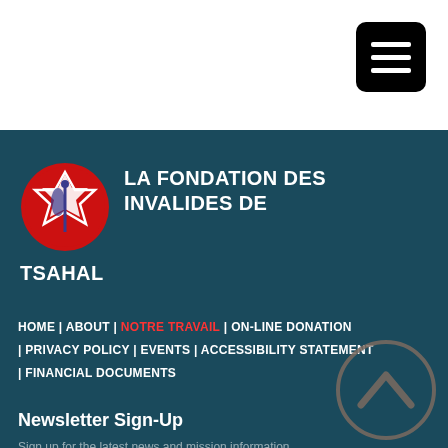[Figure (logo): Hamburger menu icon button (black rounded rectangle with three white horizontal bars) in top right corner]
[Figure (logo): La Fondation des Invalides de Tsahal circular red logo with Star of David and sword/olive branch emblem]
LA FONDATION DES INVALIDES DE TSAHAL
HOME | ABOUT | NOTRE TRAVAIL | ON-LINE DONATION | PRIVACY POLICY | EVENTS | ACCESSIBILITY STATEMENT | FINANCIAL DOCUMENTS
Newsletter Sign-Up
Sign up for the latest news and mission information...